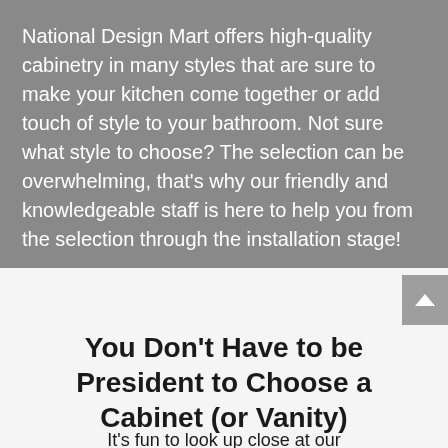National Design Mart offers high-quality cabinetry in many styles that are sure to make your kitchen come together or add touch of style to your bathroom. Not sure what style to choose? The selection can be overwhelming, that's why our friendly and knowledgeable staff is here to help you from the selection through the installation stage!
You Don't Have to be President to Choose a Cabinet (or Vanity)
It's fun to look up close at our